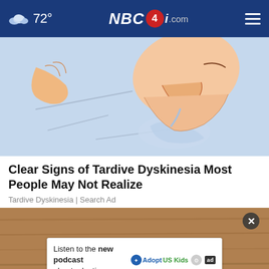72° NBC4i.com
[Figure (illustration): Cartoon illustration of a person sleeping on a pillow, drooling]
Clear Signs of Tardive Dyskinesia Most People May Not Realize
Tardive Dyskinesia | Search Ad
[Figure (photo): Partial photo visible behind ad overlay, brownish wooden background]
Listen to the new podcast about adoption. Adopt US Kids